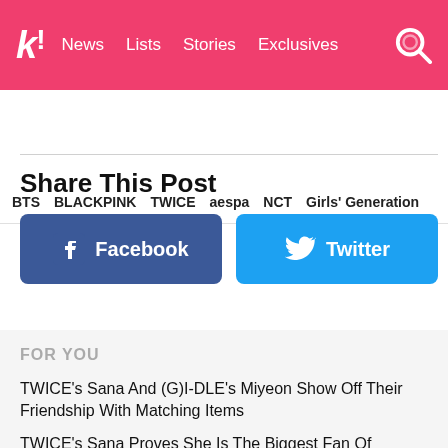k! News  Lists  Stories  Exclusives
BTS  BLACKPINK  TWICE  aespa  NCT  Girls' Generation
Share This Post
Facebook
Twitter
FOR YOU
TWICE's Sana And (G)I-DLE's Miyeon Show Off Their Friendship With Matching Items
TWICE's Sana Proves She Is The Biggest Fan Of